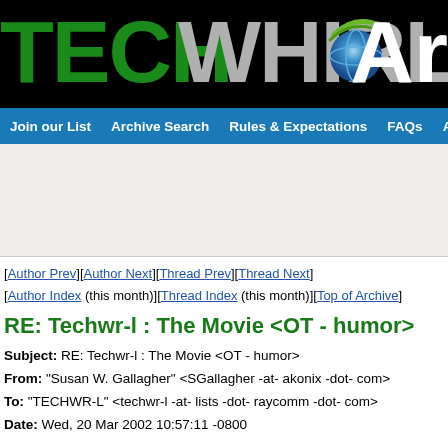[Figure (logo): TechWhirl Archive logo on black background with green TECH text, gray WHIRL text, globe graphic, and white Ar text]
Join our List | Archive Search | Rules & Expectations | FAQs | Ab
[Author Prev][Author Next][Thread Prev][Thread Next]
[Author Index (this month)][Thread Index (this month)][Top of Archive]
RE: Techwr-l : The Movie <OT - humor>
Subject: RE: Techwr-l : The Movie <OT - humor>
From: "Susan W. Gallagher" <SGallagher -at- akonix -dot- com>
To: "TECHWR-L" <techwr-l -at- lists -dot- raycomm -dot- com>
Date: Wed, 20 Mar 2002 10:57:11 -0800
> > What are some good titles/storylines?
> > Who should play YOU in the movie?
> > And, if you dare, who should play some of the key players:
> Mr. Plato,
> > Eric, etc.? (be nice!)